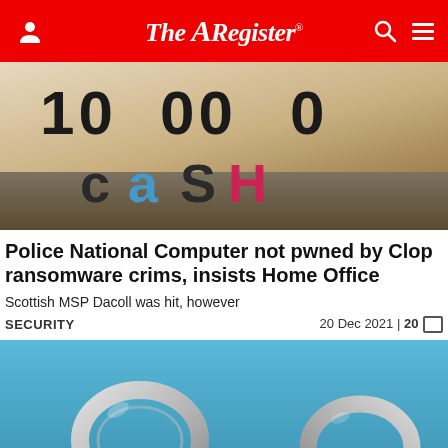The Register
[Figure (photo): Close-up of a board game or card with large text reading '10 00 0' and 'CaSH' in mixed colorful letters on a beige/cream surface]
Police National Computer not pwned by Clop ransomware crims, insists Home Office
Scottish MSP Dacoll was hit, however
SECURITY    20 Dec 2021 | 20
[Figure (photo): Pair of silver handcuffs on a blue background]